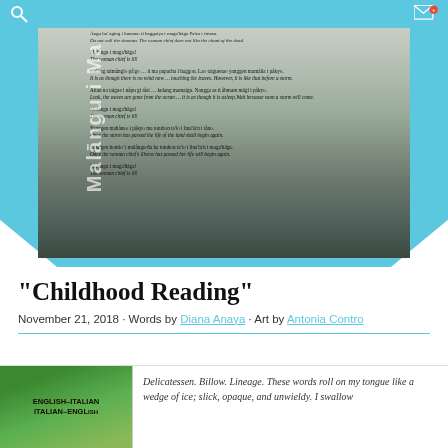[Figure (photo): A photograph showing a poem in two languages (Chamorro and English) overlaid on a misty landscape background, with decorative envelope-shaped cyan border and rotated sidebar text reading 'Malāngu i Ma']
“Childhood Reading”
November 21, 2018 · Words by Diana Anaya · Art by Antonia Contro
[Figure (photo): Preview image showing an English-Italian / Italian-English dictionary book cover in green, alongside italic text: 'Delicatessen. Billow. Lineage. These words roll on my tongue like a wedge of ice; slick, opaque, and unwieldy. I swallow']